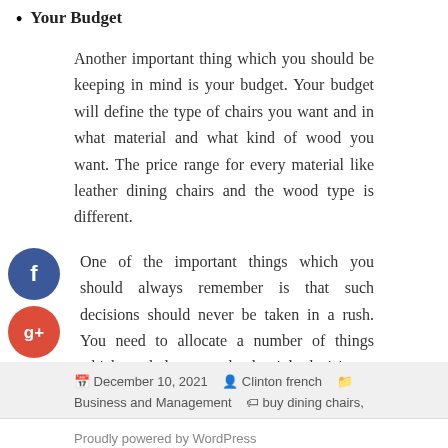Your Budget
Another important thing which you should be keeping in mind is your budget. Your budget will define the type of chairs you want and in what material and what kind of wood you want. The price range for every material like leather dining chairs and the wood type is different.
One of the important things which you should always remember is that such decisions should never be taken in a rush. You need to allocate a number of things which can help you make the right decision.
December 10, 2021   Clinton french   Business and Management   buy dining chairs, wicker dining chairs
Proudly powered by WordPress